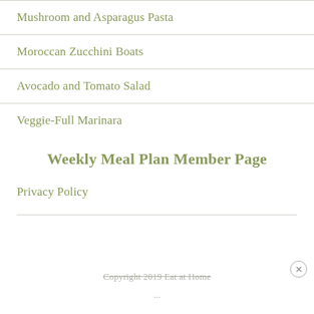Mushroom and Asparagus Pasta
Moroccan Zucchini Boats
Avocado and Tomato Salad
Veggie-Full Marinara
Weekly Meal Plan Member Page
Privacy Policy
Copyright 2019 Eat at Home